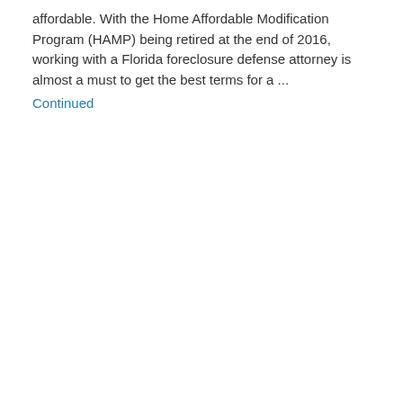affordable. With the Home Affordable Modification Program (HAMP) being retired at the end of 2016, working with a Florida foreclosure defense attorney is almost a must to get the best terms for a ...
Continued